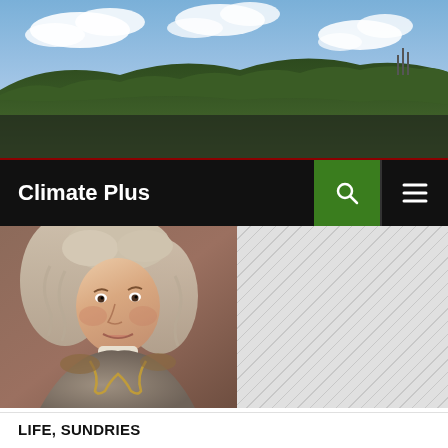[Figure (photo): Landscape header photo showing rolling hills covered with trees under a partly cloudy blue sky, with some industrial structures visible on the horizon]
Climate Plus
[Figure (photo): Classical oil painting portrait of a young man with long curly white/gray wig, wearing an ornate coat with gold embroidery — likely Voltaire]
[Figure (other): Diagonal stripe sidebar pattern in light gray]
LIFE, SUNDRIES